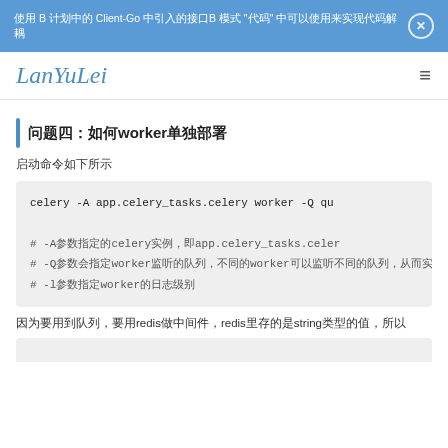使用 B 计划中的 Client-Go 中引入的接口B 模式 "代码" 中可以使用来实现代码解耦
LanYuLei
问题四：如何worker单独部署
启动命令如下所示
celery -A app.celery_tasks.celery worker -Q qu
# -A参数指定的celery实例，即app.celery_tasks.celer
# -Q参数会指定worker监听的队列，不同的worker可以监听不同的队列，从而实现
# -l参数指定worker的日志级别
因为要用到队列，要用redis做中间件，redis里存的是string类型的值，所以